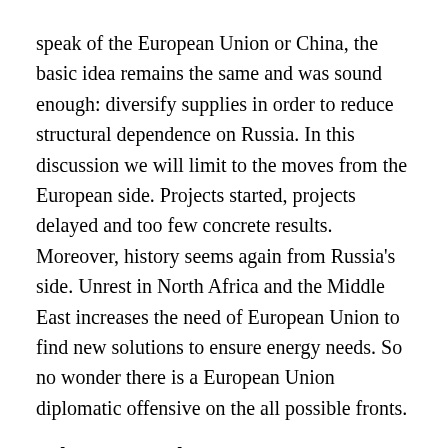speak of the European Union or China, the basic idea remains the same and was sound enough: diversify supplies in order to reduce structural dependence on Russia. In this discussion we will limit to the moves from the European side. Projects started, projects delayed and too few concrete results. Moreover, history seems again from Russia's side. Unrest in North Africa and the Middle East increases the need of European Union to find new solutions to ensure energy needs. So no wonder there is a European Union diplomatic offensive on the all possible fronts.
Nabucco vs South Stream
When talking about the two major energy projects of European Southern Corridor, we mainly observed that Western European diplomacy has always tried, at